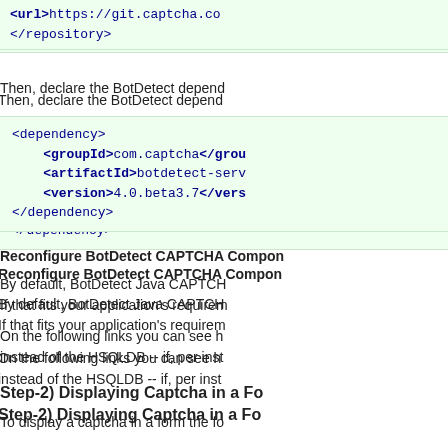[Figure (screenshot): Code block showing XML repository closing tag with url element: <url>https://git.captcha.co... </repository>]
Then, declare the BotDetect depend...
[Figure (screenshot): Code block showing XML dependency declaration: <dependency> <groupId>com.captcha</groupId> <artifactId>botdetect-serv...</artifactId> <version>4.0.beta3.7</version> </dependency>]
Reconfigure BotDetect CAPTCHA Compon...
By default, BotDetect Java CAPTCH... If that fits your application's requirem...
On the following links you can see h... instead of the HSQLDB -- if, per inst...
Step-2) Displaying Captcha in a Fo...
To display a captcha in a form the fo...
Captcha style has to be defined.
React Captcha Component on f... CAPTCHA library on backend.
Step-2.1) Define Your First Captcha Styl...
The next line is a link not done...